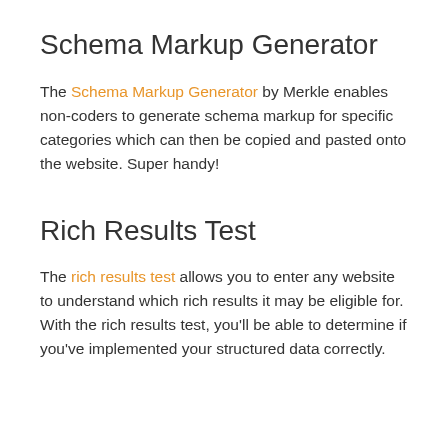Schema Markup Generator
The Schema Markup Generator by Merkle enables non-coders to generate schema markup for specific categories which can then be copied and pasted onto the website. Super handy!
Rich Results Test
The rich results test allows you to enter any website to understand which rich results it may be eligible for. With the rich results test, you’ll be able to determine if you’ve implemented your structured data correctly.